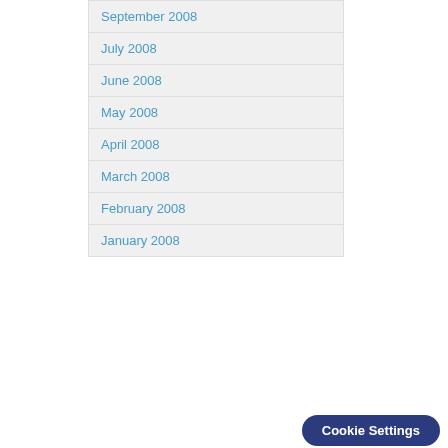September 2008
July 2008
June 2008
May 2008
April 2008
March 2008
February 2008
January 2008
VMware Social Media
VMware Blogs
VMware Twitter Accounts
VMware Facebook Pages
VMware Google+ Pages
VMware LinkedIn Groups
VMware YouTube Channels
VMware Groups
Cookie Settings